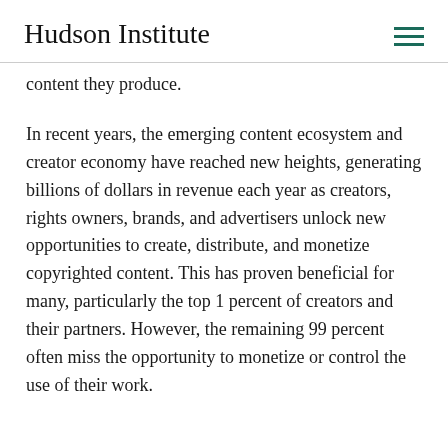Hudson Institute
content they produce.
In recent years, the emerging content ecosystem and creator economy have reached new heights, generating billions of dollars in revenue each year as creators, rights owners, brands, and advertisers unlock new opportunities to create, distribute, and monetize copyrighted content. This has proven beneficial for many, particularly the top 1 percent of creators and their partners. However, the remaining 99 percent often miss the opportunity to monetize or control the use of their work.